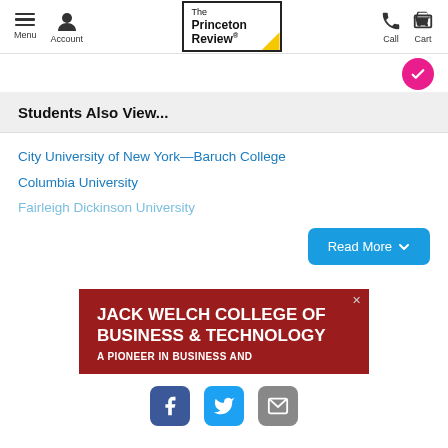The Princeton Review — Menu, Account, Call, Cart navigation
Students Also View...
City University of New York—Baruch College
Columbia University
Fairleigh Dickinson University
[Figure (screenshot): Read More button (blue rounded rectangle with chevron)]
[Figure (infographic): Jack Welch College of Business & Technology advertisement banner — dark red background, white bold text reading JACK WELCH COLLEGE OF BUSINESS & TECHNOLOGY, A PIONEER IN BUSINESS AND...]
[Figure (infographic): Social share icons: Facebook (blue), Twitter (light blue), Email (gray)]